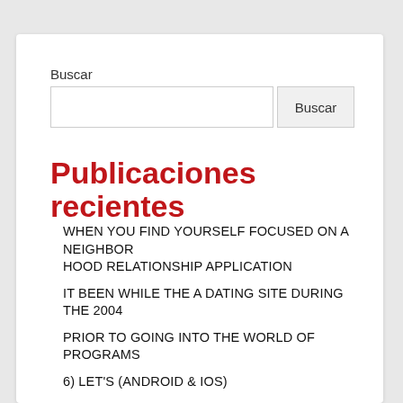Buscar
Publicaciones recientes
WHEN YOU FIND YOURSELF FOCUSED ON A NEIGHBORHOOD RELATIONSHIP APPLICATION
IT BEEN WHILE THE A DATING SITE DURING THE 2004
PRIOR TO GOING INTO THE WORLD OF PROGRAMS
6) LET'S (ANDROID & IOS)
BUMBLE, EXACTLY LIKE TINDER AND DEPEND, IS